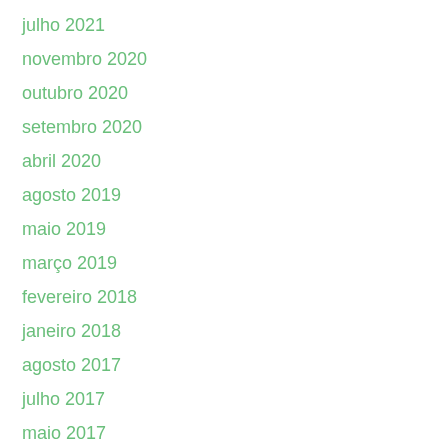julho 2021
novembro 2020
outubro 2020
setembro 2020
abril 2020
agosto 2019
maio 2019
março 2019
fevereiro 2018
janeiro 2018
agosto 2017
julho 2017
maio 2017
abril 2017
janeiro 2017
dezembro 2016